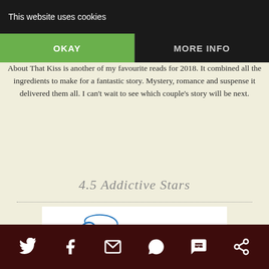This website uses cookies
About That Kiss is another of my favourite reads for 2018. It combined all the ingredients to make for a fantastic story. Mystery, romance and suspense it delivered them all. I can't wait to see which couple's story will be next.
4.5 Addictive Stars
[Figure (illustration): Handwritten script signature reading 'Nadene' in blue cursive on white background]
Social sharing icons: Twitter, Facebook, Email, WhatsApp, SMS, other